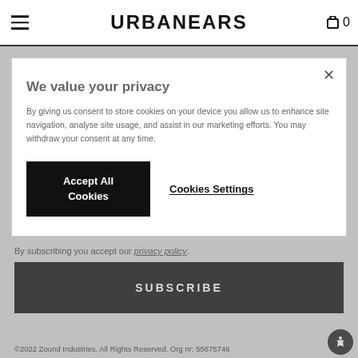URBANEARS
[Figure (screenshot): Cookie consent modal dialog on Urbanears website. Modal contains title 'We value your privacy', body text about cookie consent, an 'Accept All Cookies' black button, and a 'Cookies Settings' underlined link. Background shows email subscription form with 'Enter email address here' input, privacy policy text, SUBSCRIBE button, and footer copyright '©2022 Zound Industries. All Rights Reserved. Org nr: 55675746']